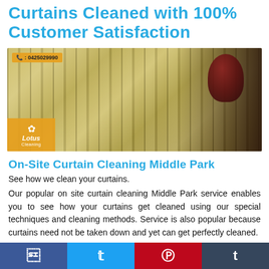Curtains Cleaned with 100% Customer Satisfaction
[Figure (photo): Photo of cream/gold curtains being cleaned with a tool, Lotus Cleaning branding overlay with phone number 0425029990]
On-Site Curtain Cleaning Middle Park
See how we clean your curtains.
Our popular on site curtain cleaning Middle Park service enables you to see how your curtains get cleaned using our special techniques and cleaning methods. Service is also popular because curtains need not be taken down and yet can get perfectly cleaned.
Don't mind us taking over your curtains?
[Figure (infographic): Social media share bar with Facebook, Twitter, Pinterest, and Tumblr buttons]